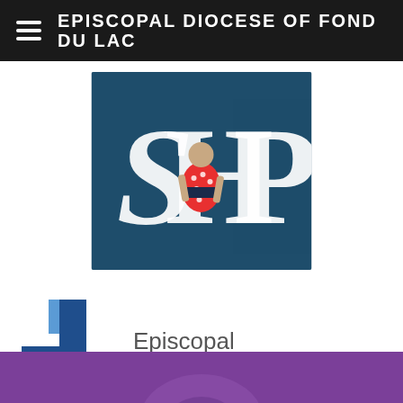EPISCOPAL DIOCESE OF FOND DU LAC
[Figure (logo): SHP logo — dark blue/teal square background with large white serif letters S, H, P and a small figure of a person in a red polka-dot dress overlapping the letters]
[Figure (logo): Episcopal Relief & Development logo — a blue geometric cross/plus shape beside the text 'Episcopal Relief & Development' in grey and the tagline 'Working Together for Lasting Change' in blue]
[Figure (photo): Bottom cropped section of a purple-toned banner or image, partially visible]